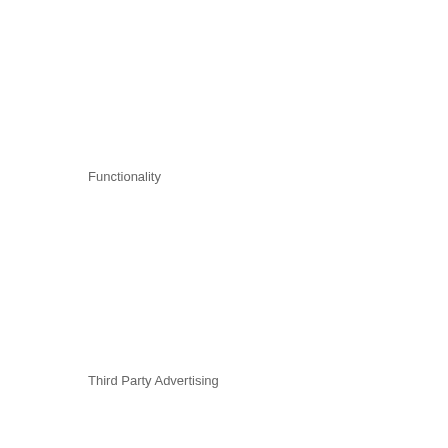Functionality
Third Party Advertising